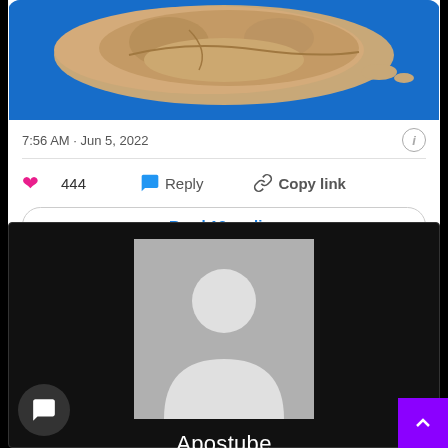[Figure (map): Aerial/satellite view of an island map (game map), brown land with blue ocean surrounding it]
7:56 AM · Jun 5, 2022
444  Reply  Copy link
Read 13 replies
[Figure (photo): Default grey avatar placeholder with white silhouette of a person]
Apostube